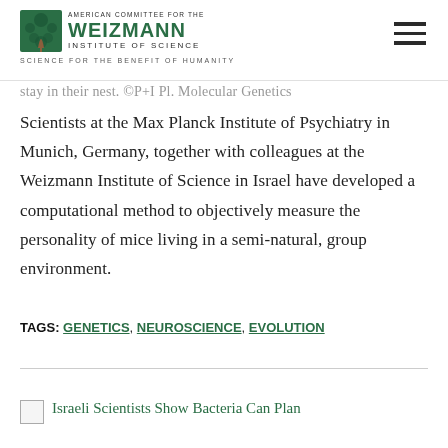AMERICAN COMMITTEE FOR THE WEIZMANN INSTITUTE OF SCIENCE — SCIENCE FOR THE BENEFIT OF HUMANITY
stay in their nest. ©P+I Pl. Molecular Genetics
Scientists at the Max Planck Institute of Psychiatry in Munich, Germany, together with colleagues at the Weizmann Institute of Science in Israel have developed a computational method to objectively measure the personality of mice living in a semi-natural, group environment.
TAGS: GENETICS, NEUROSCIENCE, EVOLUTION
Israeli Scientists Show Bacteria Can Plan